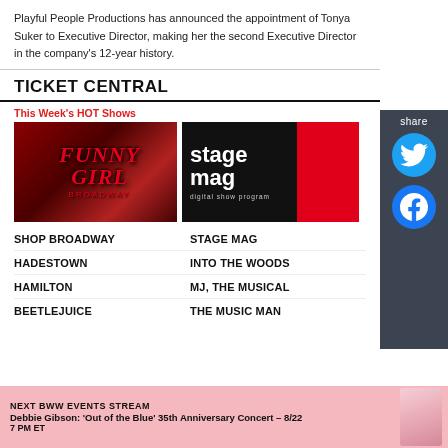Playful People Productions has announced the appointment of Tonya Suker to Executive Director, making her the second Executive Director in the company's 12-year history.
TICKET CENTRAL
This Week's HOT Shows
[Figure (photo): Funny Girl Broadway show advertisement with red curtain background and red stylized text]
[Figure (photo): Stage Mag digital show program logo on black and red background]
SHOP BROADWAY
STAGE MAG
HADESTOWN
INTO THE WOODS
HAMILTON
MJ, THE MUSICAL
BEETLEJUICE
THE MUSIC MAN
NEXT BWW EVENTS STREAM
Debbie Gibson: 'Out of the Blue' 35th Anniversary Concert – 8/22
7 PM ET